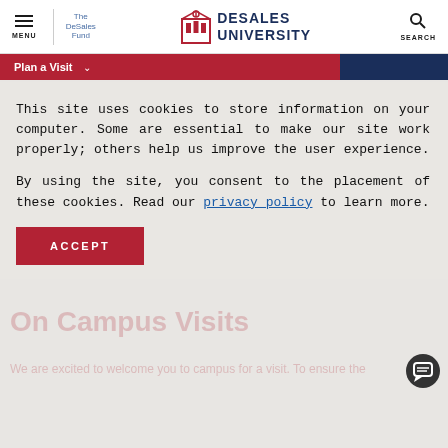MENU | The DeSales Fund | DeSales University | SEARCH
Plan a Visit
This site uses cookies to store information on your computer. Some are essential to make our site work properly; others help us improve the user experience.

By using the site, you consent to the placement of these cookies. Read our privacy policy to learn more.
ACCEPT
On Campus Visits
We are excited to welcome you to campus for a visit. To ensure the